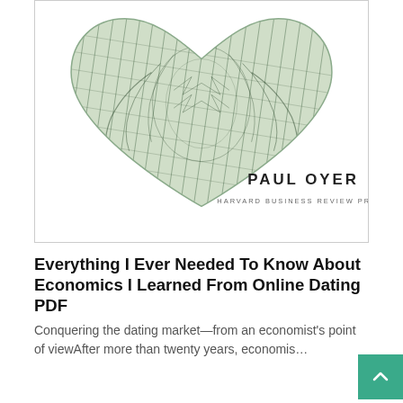[Figure (illustration): Book cover of 'Everything I Ever Needed To Know About Economics I Learned From Online Dating' by Paul Oyer, Harvard Business Review Press. The cover features a heart shape formed by US dollar bill engravings (green/grey eagle and feather motifs on white background). Author name 'PAUL OYER' and publisher 'HARVARD BUSINESS REVIEW PRESS' printed in the lower right.]
Everything I Ever Needed To Know About Economics I Learned From Online Dating PDF
Conquering the dating market—from an economist's point of viewAfter more than twenty years, economis...